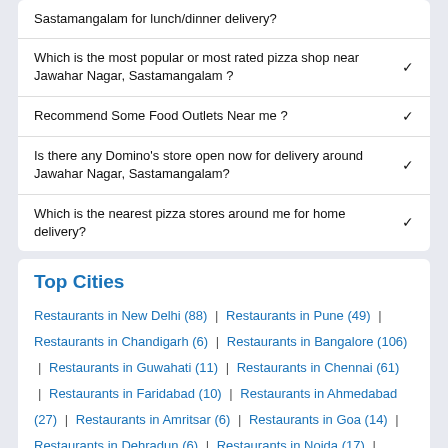Sastamangalam for lunch/dinner delivery?
Which is the most popular or most rated pizza shop near Jawahar Nagar, Sastamangalam ?
Recommend Some Food Outlets Near me ?
Is there any Domino's store open now for delivery around Jawahar Nagar, Sastamangalam?
Which is the nearest pizza stores around me for home delivery?
Top Cities
Restaurants in New Delhi (88) | Restaurants in Pune (49) | Restaurants in Chandigarh (6) | Restaurants in Bangalore (106) | Restaurants in Guwahati (11) | Restaurants in Chennai (61) | Restaurants in Faridabad (10) | Restaurants in Ahmedabad (27) | Restaurants in Amritsar (6) | Restaurants in Goa (14) | Restaurants in Dehradun (6) | Restaurants in Noida (17) | Restaurants in Vadodara (11) | Restaurants in Ghaziabad (14) | Restaurants in Ludhiana (6)